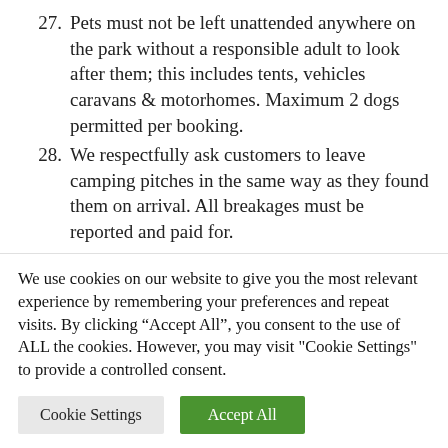27. Pets must not be left unattended anywhere on the park without a responsible adult to look after them; this includes tents, vehicles caravans & motorhomes. Maximum 2 dogs permitted per booking.
28. We respectfully ask customers to leave camping pitches in the same way as they found them on arrival. All breakages must be reported and paid for.
29. The proprietors or their representatives
We use cookies on our website to give you the most relevant experience by remembering your preferences and repeat visits. By clicking “Accept All”, you consent to the use of ALL the cookies. However, you may visit "Cookie Settings" to provide a controlled consent.